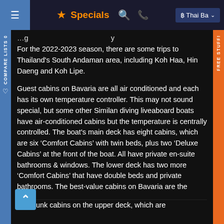☰  ★ Specials  🔍  📞  ฿ Thai Ba ∨
For the 2022-2023 season, there are some trips to Thailand's South Andaman area, including Koh Haa, Hin Daeng and Koh Lipe.
Guest cabins on Bavaria are all air conditioned and each has its own temperature controller. This may not sound special, but some other Similan diving liveaboard boats have air-conditioned cabins but the temperature is centrally controlled. The boat's main deck has eight cabins, which are six 'Comfort Cabins' with twin beds, plus two 'Deluxe Cabins' at the front of the boat. All have private en-suite bathrooms & windows. The lower deck has two more 'Comfort Cabins' that have double beds and private bathrooms. The best-value cabins on Bavaria are the twin bunk cabins on the upper deck, which are…